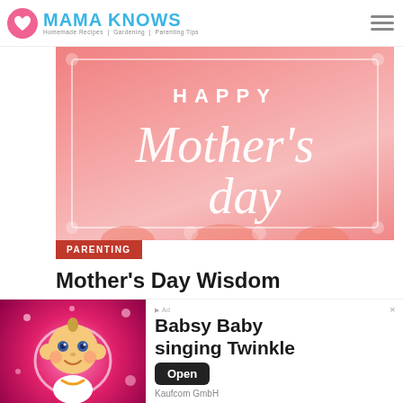Mama Knows — Homemade Recipes | Gardening | Parenting Tips
[Figure (illustration): Happy Mother's Day decorative pink banner with cursive white lettering and floral ornaments]
PARENTING
Mother's Day Wisdom
APRIL 25, 2018 / BY HANNA TRAFFORD
[Figure (illustration): Teal/turquoise banner with cursive white text reading Mother's Day Brunch]
[Figure (illustration): Advertisement: Babsy Baby singing Twinkle by Kaufcom GmbH — cartoon baby image with pink sparkly background, Open button]